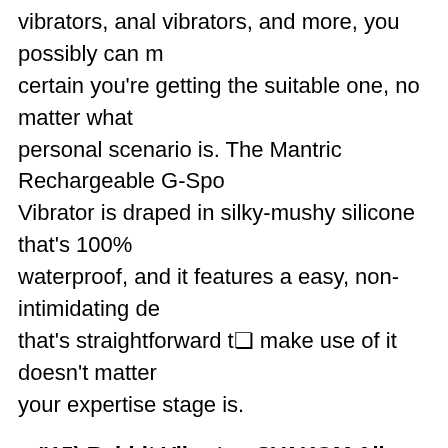vibrators, anal vibrators, and more, you possibly can m certain you're getting the suitable one, no matter what personal scenario is. The Mantric Rechargeable G-Spo Vibrator is draped in silky-mushy silicone that's 100% waterproof, and it features a easy, non-intimidating de that's straightforward t make use of it doesn't matter your expertise stage is.
"15) Rabbit Vibrator, SVAKOM Alice – Best for those Love Anticipation."
Vibrating G-Spot Pleaser is bound to convey our fanta to reality in virtue of totally thought-out design. I need Satisfyer have combined the excellence of the Satisf 2 with a really pleasurable vibrator, completely forme